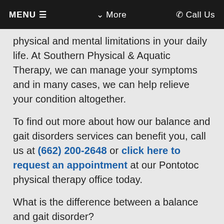MENU ☰   ✓ More   ✆ Call Us
physical and mental limitations in your daily life. At Southern Physical & Aquatic Therapy, we can manage your symptoms and in many cases, we can help relieve your condition altogether.
To find out more about how our balance and gait disorders services can benefit you, call us at (662) 200-2648 or click here to request an appointment at our Pontotoc physical therapy office today.
What is the difference between a balance and gait disorder?
Balance and gait disorders are closely related...